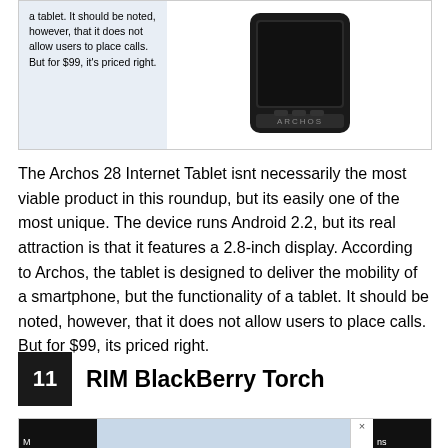[Figure (photo): Top portion of a product review card showing the Archos device image on a light blue background with text description on the left side. The text reads: 'a tablet. It should be noted, however, that it does not allow users to place calls. But for $99, it's priced right.' An Archos branded device is shown on the right.]
The Archos 28 Internet Tablet isnt necessarily the most viable product in this roundup, but its easily one of the most unique. The device runs Android 2.2, but its real attraction is that it features a 2.8-inch display. According to Archos, the tablet is designed to deliver the mobility of a smartphone, but the functionality of a tablet. It should be noted, however, that it does not allow users to place calls. But for $99, its priced right.
11 RIM BlackBerry Torch
[Figure (screenshot): Bottom strip showing partial screenshot with dark header bars on left and right sides and a light blue middle section. An X close button is visible.]